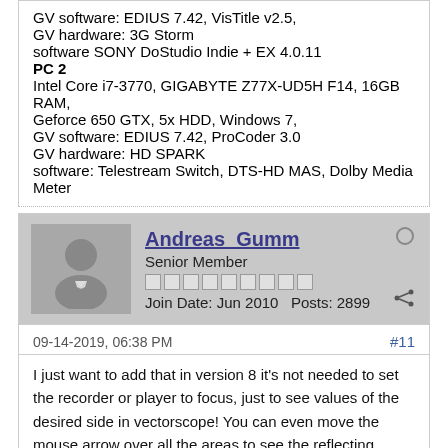GV software: EDIUS 7.42, VisTitle v2.5,
GV hardware: 3G Storm
software SONY DoStudio Indie + EX 4.0.11
PC 2
Intel Core i7-3770, GIGABYTE Z77X-UD5H F14, 16GB RAM,
Geforce 650 GTX, 5x HDD, Windows 7,
GV software: EDIUS 7.42, ProCoder 3.0
GV hardware: HD SPARK
software: Telestream Switch, DTS-HD MAS, Dolby Media Meter
Andreas_Gumm
Senior Member
Join Date: Jun 2010   Posts: 2899
09-14-2019, 06:38 PM
#11
I just want to add that in version 8 it's not needed to set the recorder or player to focus, just to see values of the desired side in vectorscope! You can even move the mouse arrow over all the areas to see the reflecting values.
In version 9 you have to focus on player or recorder preview to see its values in vectorscope!